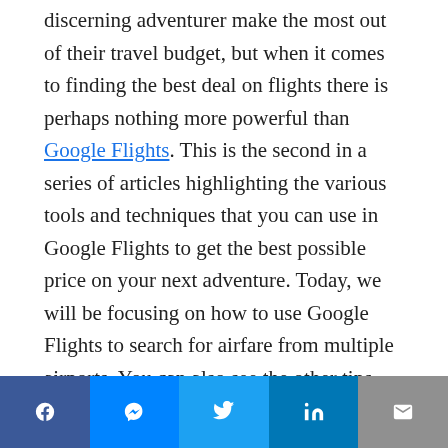discerning adventurer make the most out of their travel budget, but when it comes to finding the best deal on flights there is perhaps nothing more powerful than Google Flights. This is the second in a series of articles highlighting the various tools and techniques that you can use in Google Flights to get the best possible price on your next adventure. Today, we will be focusing on how to use Google Flights to search for airfare from multiple airports. You can also see the other tips and tricks for using Google Flights like a master below.
Social share bar: Facebook, Messenger, Twitter, LinkedIn, Email